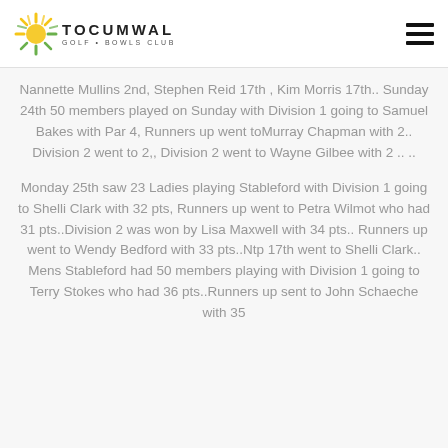TOCUMWAL GOLF & BOWLS CLUB
Nannette Mullins 2nd, Stephen Reid 17th , Kim Morris 17th.. Sunday 24th 50 members played on Sunday with Division 1 going to Samuel Bakes with Par 4, Runners up went toMurray Chapman with 2.. Division 2 went to 2,, Division 2 went to Wayne Gilbee with 2 .. ..
Monday 25th saw 23 Ladies playing Stableford with Division 1 going to Shelli Clark with 32 pts, Runners up went to Petra Wilmot who had 31 pts..Division 2 was won by Lisa Maxwell with 34 pts.. Runners up went to Wendy Bedford with 33 pts..Ntp 17th went to Shelli Clark.. Mens Stableford had 50 members playing with Division 1 going to Terry Stokes who had 36 pts..Runners up sent to John Schaeche with 35